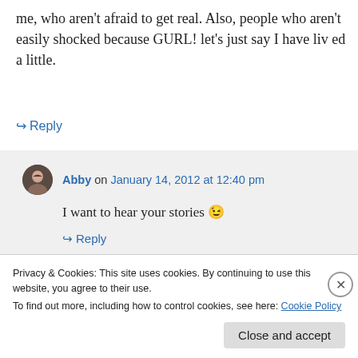me, who aren't afraid to get real. Also, people who aren't easily shocked because GURL! let's just say I have liv ed a little.
↳ Reply
Abby on January 14, 2012 at 12:40 pm
I want to hear your stories 😉
↳ Reply
Privacy & Cookies: This site uses cookies. By continuing to use this website, you agree to their use.
To find out more, including how to control cookies, see here: Cookie Policy
Close and accept